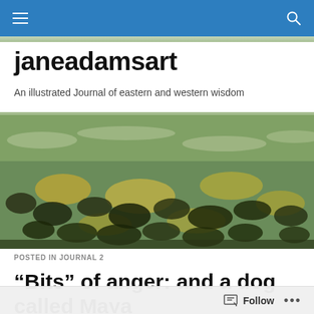janeadamsart — navigation bar with menu and search
janeadamsart
An illustrated Journal of eastern and western wisdom
[Figure (photo): Close-up photograph of wet pebbles/stones underwater with greenish-golden light reflections on the surface, showing a river or shallow water bed with smooth rounded rocks.]
POSTED IN JOURNAL 2
“Bits” of anger: and a dog called Maya
Follow